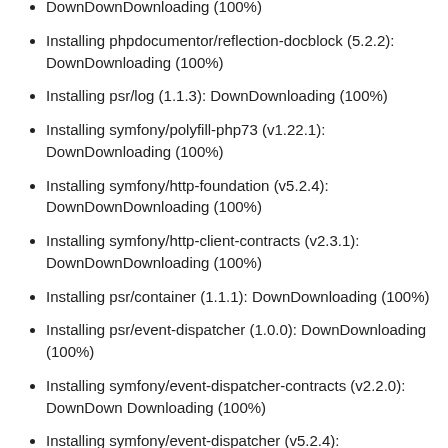DownDownDownloading (100%)
Installing phpdocumentor/reflection-docblock (5.2.2): DownDownloading (100%)
Installing psr/log (1.1.3): DownDownloading (100%)
Installing symfony/polyfill-php73 (v1.22.1): DownDownloading (100%)
Installing symfony/http-foundation (v5.2.4): DownDownDownloading (100%)
Installing symfony/http-client-contracts (v2.3.1): DownDownDownloading (100%)
Installing psr/container (1.1.1): DownDownloading (100%)
Installing psr/event-dispatcher (1.0.0): DownDownloading (100%)
Installing symfony/event-dispatcher-contracts (v2.2.0): DownDown Downloading (100%)
Installing symfony/event-dispatcher (v5.2.4): DownDownDownloading (100%)
Installing symfony/something (v5.2.2):